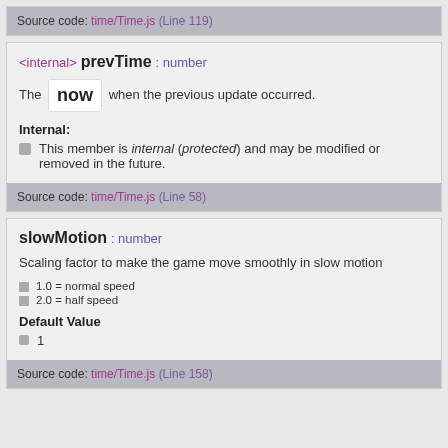Source code: time/Time.js (Line 119)
<internal> prevTime : number
The now when the previous update occurred.
Internal: This member is internal (protected) and may be modified or removed in the future.
Source code: time/Time.js (Line 58)
slowMotion : number
Scaling factor to make the game move smoothly in slow motion
1.0 = normal speed
2.0 = half speed
Default Value
1
Source code: time/Time.js (Line 158)